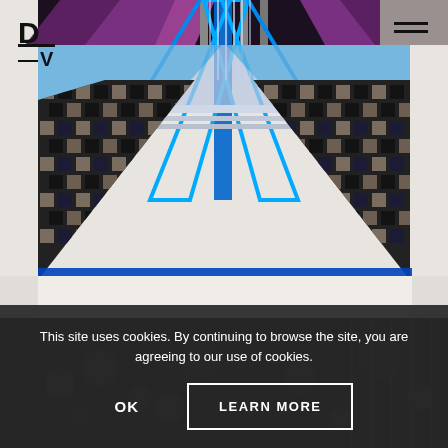[Figure (photo): Textile artwork with blue geometric patterns, diagonal lines, and woven checkerboard design on a light background]
D —V
This site uses cookies. By continuing to browse the site, you are agreeing to our use of cookies.
OK
LEARN MORE